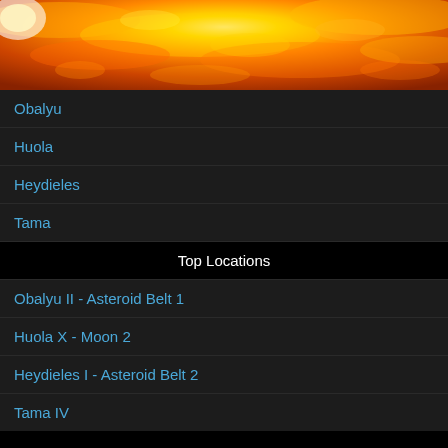[Figure (photo): Close-up photo of the sun's surface showing orange and yellow solar flares and plasma activity]
Obalyu
Huola
Heydieles
Tama
Top Locations
Obalyu II - Asteroid Belt 1
Huola X - Moon 2
Heydieles I - Asteroid Belt 2
Tama IV